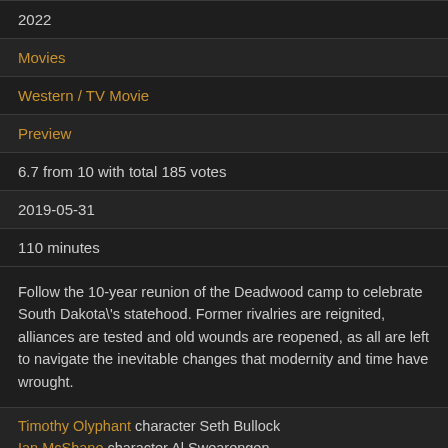2022
Movies
Western / TV Movie
Preview
6.7 from 10 with total 185 votes
2019-05-31
110 minutes
Follow the 10-year reunion of the Deadwood camp to celebrate South Dakota\'s statehood. Former rivalries are reignited, alliances are tested and old wounds are reopened, as all are left to navigate the inevitable changes that modernity and time have wrought.
Timothy Olyphant character Seth Bullock
Ian McShane character Al Swearengen